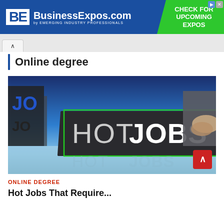[Figure (screenshot): BusinessExpos.com banner advertisement with blue background, white BE logo, and green 'CHECK FOR UPCOMING EXPOS' section]
Online degree
[Figure (photo): Hot Jobs promotional image showing dark 3D cubes with 'HOTJOBS' text and a handshake on the right side]
ONLINE DEGREE
Hot Jobs That Require...